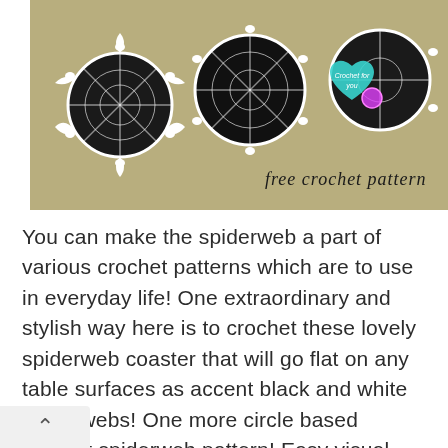[Figure (photo): Photo of black and white crocheted spiderweb coasters on a tan/beige textured surface. The coasters are circular with black centers and white lacy edges. A teal heart-shaped logo reads 'Crochet for you' and decorative text reads 'free crochet pattern'.]
You can make the spiderweb a part of various crochet patterns which are to use in everyday life! One extraordinary and stylish way here is to crochet these lovely spiderweb coaster that will go flat on any table surfaces as accent black and white spiderwebs! One more circle based crochet spiderweb pattern! Easy visual guides and crochet pattern is here